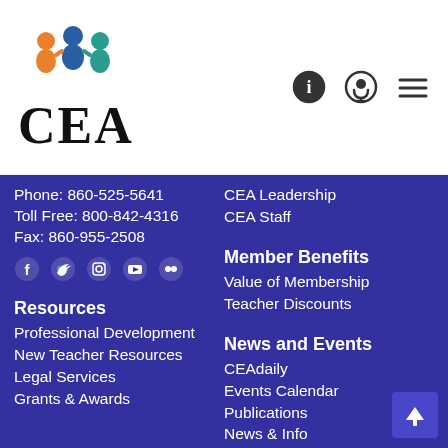[Figure (logo): CEA organization logo with colorful figure icon above the text CEA]
[Figure (infographic): Header navigation icons: info circle, podcast/microphone, and hamburger menu]
Phone: 860-525-5641
Toll Free: 800-842-4316
Fax: 860-955-2508
[Figure (infographic): Social media icons: Facebook, Twitter, Instagram, YouTube, Flickr]
Resources
Professional Development
New Teacher Resources
Legal Services
Grants & Awards
CEA Leadership
CEA Staff
Member Benefits
Value of Membership
Teacher Discounts
News and Events
CEAdaily
Events Calendar
Publications
News & Info
News Releases